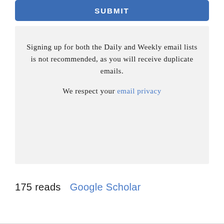[Figure (screenshot): Blue SUBMIT button]
Signing up for both the Daily and Weekly email lists is not recommended, as you will receive duplicate emails.

We respect your email privacy
175 reads   Google Scholar